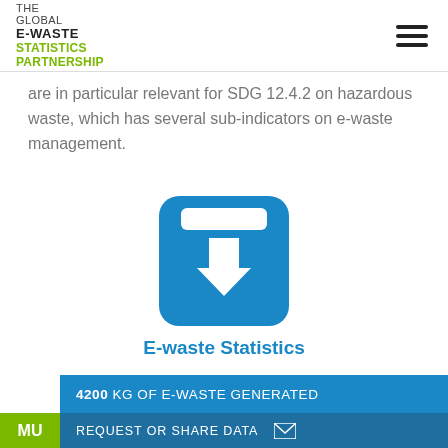THE GLOBAL E-WASTE STATISTICS PARTNERSHIP
are in particular relevant for SDG 12.4.2 on hazardous waste, which has several sub-indicators on e-waste management.
[Figure (illustration): Blue rounded square download icon with a white downward arrow, representing the E-waste Statistics Tool.]
E-waste Statistics Tool
4200 KG OF E-WASTE GENERATED
REQUEST OR SHARE DATA
MU